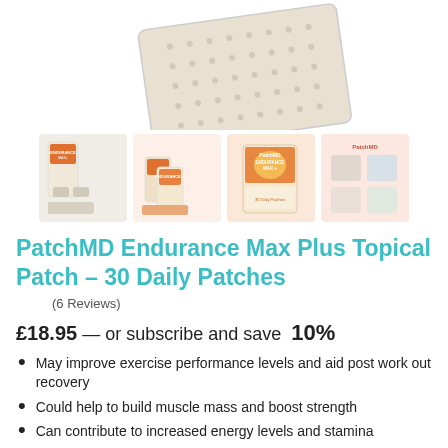[Figure (photo): PatchMD Endurance Max Plus topical patch product shown from above at angle, silver/white patch with dot pattern]
[Figure (photo): Four thumbnail product images: product box with patch, multiple boxes, box front view, instruction/info sheet with pink background]
PatchMD Endurance Max Plus Topical Patch - 30 Daily Patches
(6 Reviews)
£18.95 — or subscribe and save 10%
May improve exercise performance levels and aid post work out recovery
Could help to build muscle mass and boost strength
Can contribute to increased energy levels and stamina